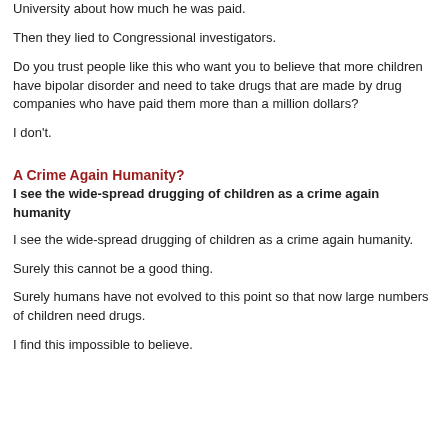University about how much he was paid.
Then they lied to Congressional investigators.
Do you trust people like this who want you to believe that more children have bipolar disorder and need to take drugs that are made by drug companies who have paid them more than a million dollars?
I don't.
A Crime Again Humanity?
I see the wide-spread drugging of children as a crime again humanity
I see the wide-spread drugging of children as a crime again humanity.
Surely this cannot be a good thing.
Surely humans have not evolved to this point so that now large numbers of children need drugs.
I find this impossible to believe.